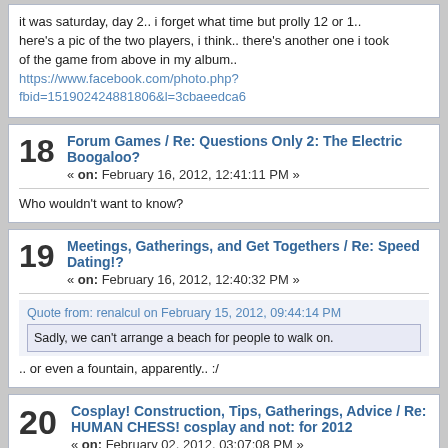it was saturday, day 2.. i forget what time but prolly 12 or 1.. here's a pic of the two players, i think.. there's another one i took of the game from above in my album.. https://www.facebook.com/photo.php?fbid=151902424881806&l=3cbaeedca6
18 Forum Games / Re: Questions Only 2: The Electric Boogaloo?
« on: February 16, 2012, 12:41:11 PM »
Who wouldn't want to know?
19 Meetings, Gatherings, and Get Togethers / Re: Speed Dating!?
« on: February 16, 2012, 12:40:32 PM »
Quote from: renalcul on February 15, 2012, 09:44:14 PM
Sadly, we can't arrange a beach for people to walk on.
.. or even a fountain, apparently.. :/
20 Cosplay! Construction, Tips, Gatherings, Advice / Re: HUMAN CHESS! cosplay and not: for 2012
« on: February 02, 2012, 03:07:08 PM »
i went to check out one of the games last year and it was quite fun to watch/take photos.. but they didn't actually finish the game b/c they ran out of time, so they just timeskipped and maneuvered